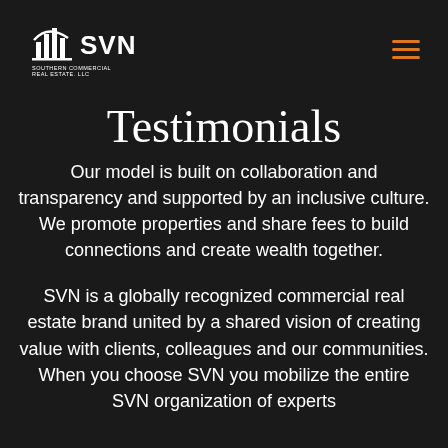[Figure (logo): SVN Southern Commercial Real Estate LLC logo — white building/chart icon with SVN text and subtitle]
≡ (hamburger menu icon)
Testimonials
Our model is built on collaboration and transparency and supported by an inclusive culture. We promote properties and share fees to build connections and create wealth together.
SVN is a globally recognized commercial real estate brand united by a shared vision of creating value with clients, colleagues and our communities. When you choose SVN you mobilize the entire SVN organization of experts